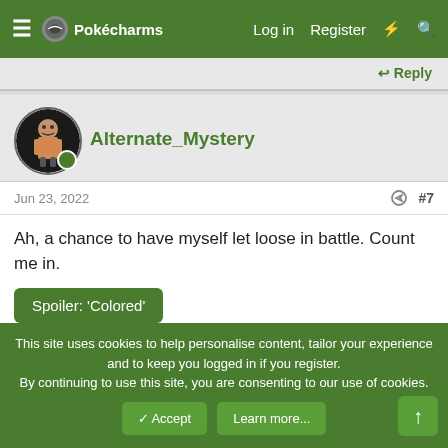Pokécharms — Log in  Register
↩ Reply
Alternate_Mystery
Jun 23, 2022  #7
Ah, a chance to have myself let loose in battle. Count me in.
Spoiler: 'Colored'
↩ Reply
This site uses cookies to help personalise content, tailor your experience and to keep you logged in if you register.
By continuing to use this site, you are consenting to our use of cookies.
✓ Accept    Learn more...